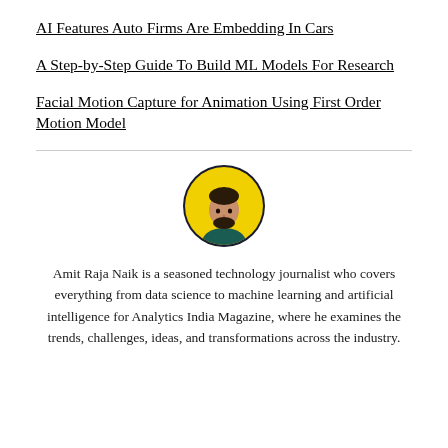AI Features Auto Firms Are Embedding In Cars
A Step-by-Step Guide To Build ML Models For Research
Facial Motion Capture for Animation Using First Order Motion Model
[Figure (photo): Circular profile photo of Amit Raja Naik with dark border and yellow background]
Amit Raja Naik is a seasoned technology journalist who covers everything from data science to machine learning and artificial intelligence for Analytics India Magazine, where he examines the trends, challenges, ideas, and transformations across the industry.